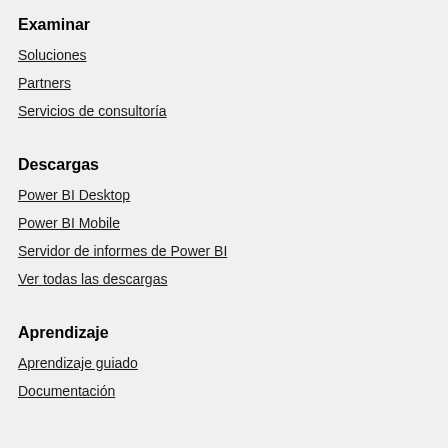Examinar
Soluciones
Partners
Servicios de consultoría
Descargas
Power BI Desktop
Power BI Mobile
Servidor de informes de Power BI
Ver todas las descargas
Aprendizaje
Aprendizaje guiado
Documentación